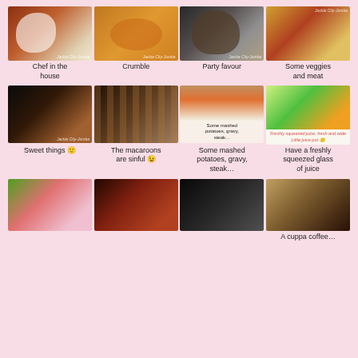[Figure (photo): Chef in a white uniform cooking in a kitchen]
Chef in the house
[Figure (photo): A bowl of crumble with fruit on top]
Crumble
[Figure (photo): Cheese wheel and party favour items]
Party favour
[Figure (photo): Display of vegetables and meat at a buffet]
Some veggies and meat
[Figure (photo): Display of colorful sweet treats and pastries]
Sweet things 🙂
[Figure (photo): Long rows of colorful macaroons on display]
The macaroons are sinful 😉
[Figure (photo): Plate of mashed potatoes, gravy, steak and carrots]
Some mashed potatoes, gravy, steak…
[Figure (photo): Display of freshly squeezed juices in glasses]
Have a freshly squeezed glass of juice
[Figure (photo): Cocktail drinks and appetizers display]
[Figure (photo): Dessert and chocolate display]
[Figure (photo): Dark buffet counter display]
[Figure (photo): Coffee cups and pastry items]
A cuppa coffee…